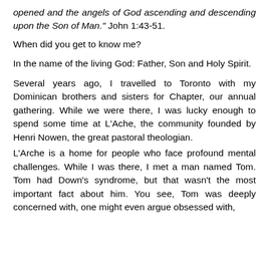opened and the angels of God ascending and descending upon the Son of Man." John 1:43-51.
When did you get to know me?
In the name of the living God: Father, Son and Holy Spirit.
Several years ago, I travelled to Toronto with my Dominican brothers and sisters for Chapter, our annual gathering. While we were there, I was lucky enough to spend some time at L'Ache, the community founded by Henri Nowen, the great pastoral theologian.
L'Arche is a home for people who face profound mental challenges. While I was there, I met a man named Tom. Tom had Down's syndrome, but that wasn't the most important fact about him. You see, Tom was deeply concerned with, one might even argue obsessed with,